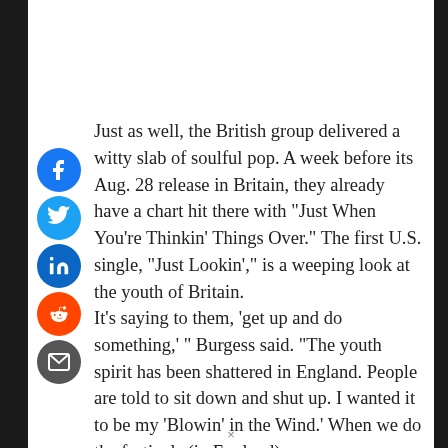Just as well, the British group delivered a witty slab of soulful pop. A week before its Aug. 28 release in Britain, they already have a chart hit there with "Just When You're Thinkin' Things Over." The first U.S. single, "Just Lookin'," is a weeping look at the youth of Britain.
It's saying to them, 'get up and do something,' " Burgess said. "The youth spirit has been shattered in England. People are told to sit down and shut up. I wanted it to be my 'Blowin' in the Wind.' When we do the festivals (in England), everyone seems to pick up on this one."
The Charlatans came with the Manchester Sound wave in 1990, scoring a gold record and a No. 1 album in their homeland with "Some Friendly," featuring the danceable